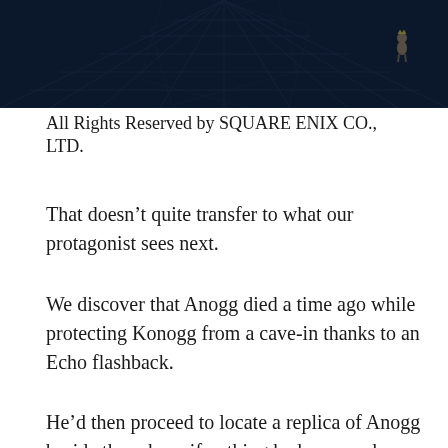[Figure (screenshot): Dark blue-tinted screenshot of a video game scene showing a tiled/gridded floor in a dimly lit environment, with a small character figure visible in the upper right area.]
All Rights Reserved by SQUARE ENIX CO., LTD.
That doesn’t quite transfer to what our protagonist sees next.
We discover that Anogg died a time ago while protecting Konogg from a cave-in thanks to an Echo flashback.
He’d then proceed to locate a replica of Anogg beside the orb, as if nothing had occurred.